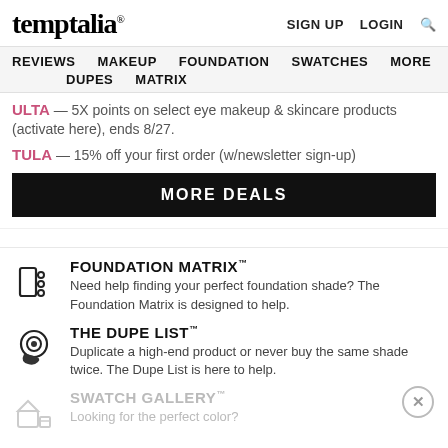temptalia® SIGN UP LOGIN 🔍
REVIEWS MAKEUP FOUNDATION SWATCHES MORE DUPES MATRIX
ULTA — 5X points on select eye makeup & skincare products (activate here), ends 8/27.
TULA — 15% off your first order (w/newsletter sign-up)
MORE DEALS
FOUNDATION MATRIX™
Need help finding your perfect foundation shade? The Foundation Matrix is designed to help.
THE DUPE LIST™
Duplicate a high-end product or never buy the same shade twice. The Dupe List is here to help.
SWATCH GALLERY™
Looking for the perfect color?